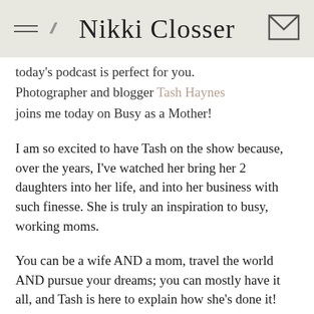Nikki Closser
today's podcast is perfect for you. Photographer and blogger Tash Haynes joins me today on Busy as a Mother!
I am so excited to have Tash on the show because, over the years, I've watched her bring her 2 daughters into her life, and into her business with such finesse. She is truly an inspiration to busy, working moms.
You can be a wife AND a mom, travel the world AND pursue your dreams; you can mostly have it all, and Tash is here to explain how she's done it! Tash gives tips